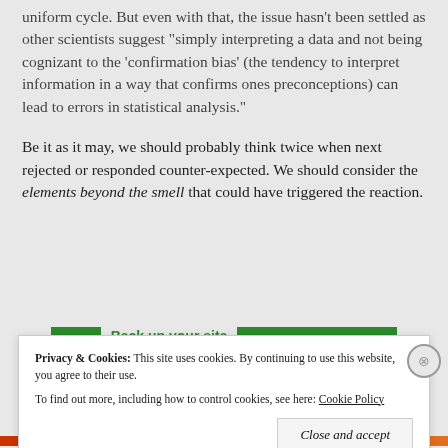uniform cycle. But even with that, the issue hasn't been settled as other scientists suggest "simply interpreting a data and not being cognizant to the 'confirmation bias' (the tendency to interpret information in a way that confirms ones preconceptions) can lead to errors in statistical analysis."
Be it as it may, we should probably think twice when next rejected or responded counter-expected. We should consider the elements beyond the smell that could have triggered the reaction.
Back up your site
Privacy & Cookies: This site uses cookies. By continuing to use this website, you agree to their use.
To find out more, including how to control cookies, see here: Cookie Policy